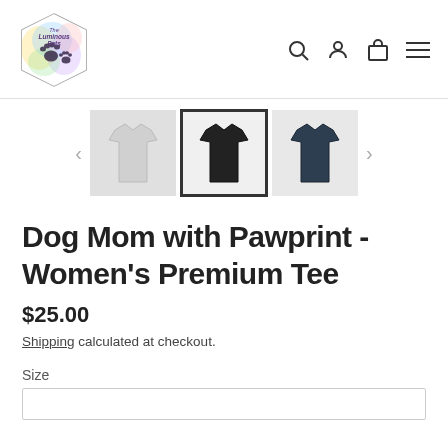[Figure (logo): The Luminous Pets logo — hexagonal shape with colorful watercolor background and paw prints]
[Figure (screenshot): Navigation icons: search (magnifier), account (person), cart (bag), and hamburger menu]
[Figure (screenshot): Three product thumbnail images of a t-shirt: white/grey variant, black variant (selected with border), and dark navy variant]
Dog Mom with Pawprint - Women's Premium Tee
$25.00
Shipping calculated at checkout.
Size